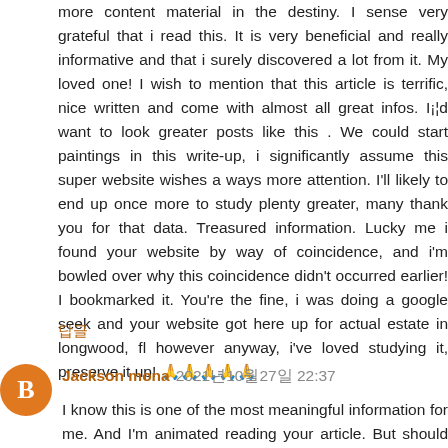more content material in the destiny. I sense very grateful that i read this. It is very beneficial and really informative and that i surely discovered a lot from it. My loved one! I wish to mention that this article is terrific, nice written and come with almost all great infos. I¡¦d want to look greater posts like this . We could start paintings in this write-up, i significantly assume this super website wishes a ways more attention. I'll likely to end up once more to study plenty greater, many thank you for that data. Treasured information. Lucky me i found your website by way of coincidence, and i'm bowled over why this coincidence didn't occurred earlier! I bookmarked it. You're the fine, i was doing a google seek and your website got here up for actual estate in longwood, fl however anyway, i've loved studying it, preserve it up! 🙏🙏🙏🙏🙏
답글
Jackson mona 2021년10월27일 22:37
I know this is one of the most meaningful information for me. And I'm animated reading your article. But should remark on some general things, the website style is perfect;